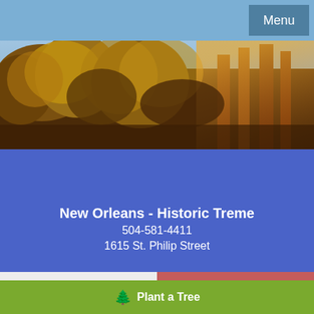Menu
[Figure (photo): Forest/trees banner photo with warm golden-brown tones and sunlight filtering through trees]
New Orleans - Historic Treme
504-581-4411
1615 St. Philip Street
Share a memory
Send Flowers
Plant a Tree